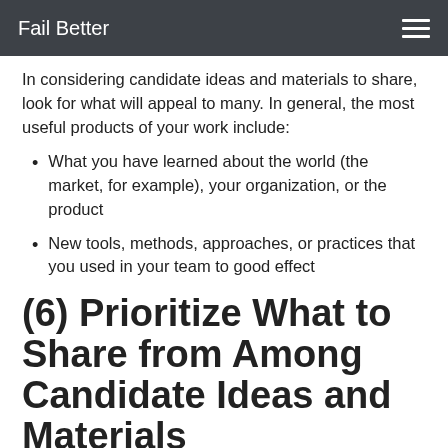Fail Better
In considering candidate ideas and materials to share, look for what will appeal to many. In general, the most useful products of your work include:
What you have learned about the world (the market, for example), your organization, or the product
New tools, methods, approaches, or practices that you used in your team to good effect
(6) Prioritize What to Share from Among Candidate Ideas and Materials